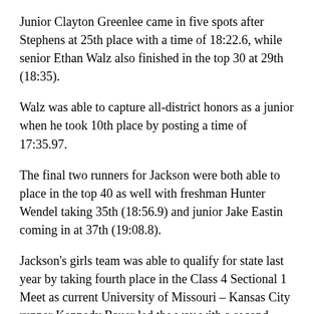Junior Clayton Greenlee came in five spots after Stephens at 25th place with a time of 18:22.6, while senior Ethan Walz also finished in the top 30 at 29th (18:35).
Walz was able to capture all-district honors as a junior when he took 10th place by posting a time of 17:35.97.
The final two runners for Jackson were both able to place in the top 40 as well with freshman Hunter Wendel taking 35th (18:56.9) and junior Jake Eastin coming in at 37th (19:08.8).
Jackson's girls team was able to qualify for state last year by taking fourth place in the Class 4 Sectional 1 Meet as current University of Missouri – Kansas City runner Kennedy Bauer led the way with a second-place finish.
Mendez recorded the highest finish for the girls team